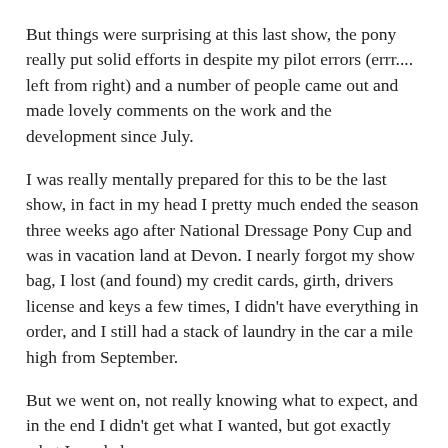But things were surprising at this last show, the pony really put solid efforts in despite my pilot errors (errr.... left from right) and a number of people came out and made lovely comments on the work and the development since July.
I was really mentally prepared for this to be the last show, in fact in my head I pretty much ended the season three weeks ago after National Dressage Pony Cup and was in vacation land at Devon. I nearly forgot my show bag, I lost (and found) my credit cards, girth, drivers license and keys a few times, I didn't have everything in order, and I still had a stack of laundry in the car a mile high from September.
But we went on, not really knowing what to expect, and in the end I didn't get what I wanted, but got exactly what I needed.
Around July, I thought I made a really good decision for the pony. Knock her down to the Jr's and let her ride out the rest of her competitive life in second level balance. I think Sinari caught wind of this and decided to pull a trump card, she